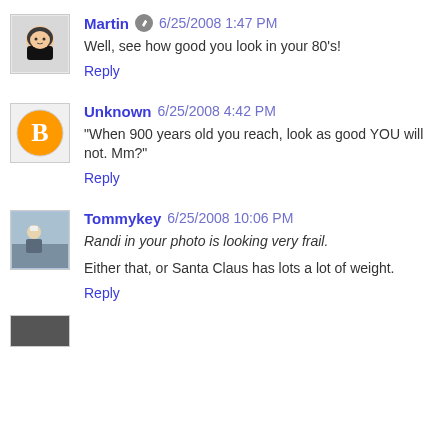[Figure (other): Avatar image of Martin (cartoon character)]
Martin  6/25/2008 1:47 PM
Well, see how good you look in your 80's!
Reply
[Figure (other): Blogger logo avatar (orange circle with B)]
Unknown  6/25/2008 4:42 PM
"When 900 years old you reach, look as good YOU will not. Mm?"
Reply
[Figure (photo): Avatar photo of Tommykey (outdoor photo)]
Tommykey  6/25/2008 10:06 PM
Randi in your photo is looking very frail.
Either that, or Santa Claus has lots a lot of weight.
Reply